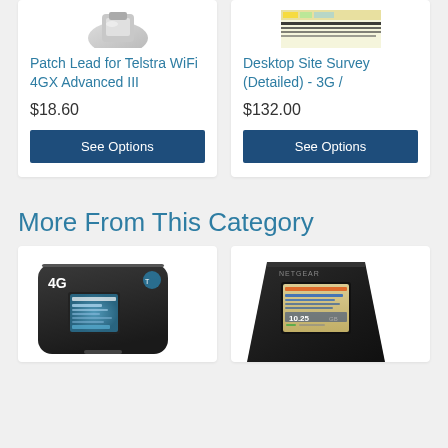[Figure (photo): Top portion of a patch lead / cable product image (partially visible at top)]
Patch Lead for Telstra WiFi 4GX Advanced III
$18.60
See Options
[Figure (screenshot): Top portion of a desktop site survey screenshot (partially visible at top)]
Desktop Site Survey (Detailed) - 3G /
$132.00
See Options
More From This Category
[Figure (photo): 4G mobile WiFi router device with Telstra branding, black rounded device showing screen with 4G label]
[Figure (photo): Netgear mobile hotspot device, black angled design with screen showing data usage]